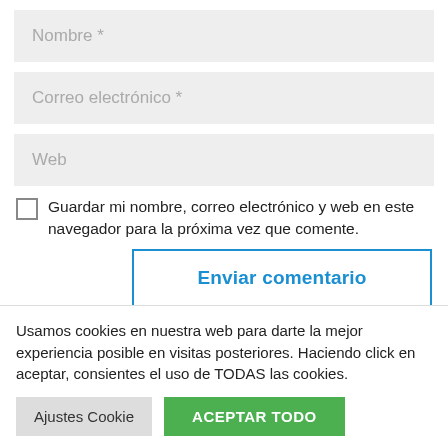Nombre *
Correo electrónico *
Web
Guardar mi nombre, correo electrónico y web en este navegador para la próxima vez que comente.
Enviar comentario
Usamos cookies en nuestra web para darte la mejor experiencia posible en visitas posteriores. Haciendo click en aceptar, consientes el uso de TODAS las cookies.
Ajustes Cookie
ACEPTAR TODO